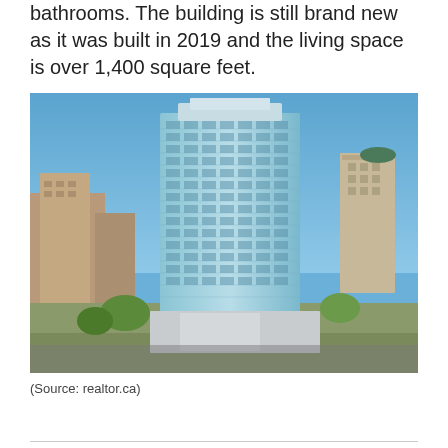bathrooms. The building is still brand new as it was built in 2019 and the living space is over 1,400 square feet.
[Figure (photo): Aerial view of a tall modern glass condominium tower in an urban cityscape with surrounding buildings under a clear blue sky.]
(Source: realtor.ca)